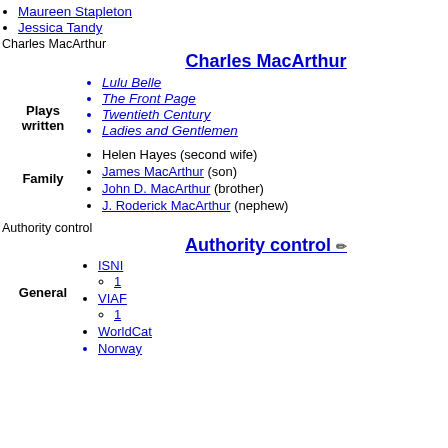Maureen Stapleton
Jessica Tandy
Charles MacArthur
Charles MacArthur
Lulu Belle
The Front Page
Twentieth Century
Ladies and Gentlemen
Helen Hayes (second wife)
James MacArthur (son)
John D. MacArthur (brother)
J. Roderick MacArthur (nephew)
Authority control
Authority control
ISNI
1
VIAF
1
WorldCat
Norway